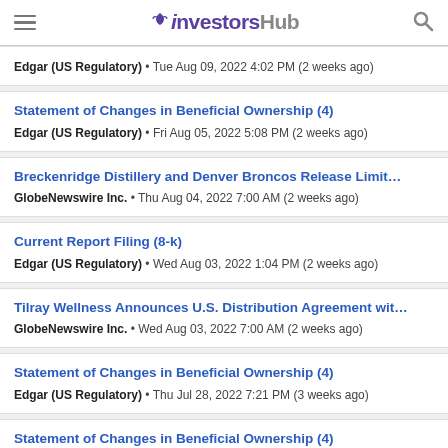InvestorsHub
Edgar (US Regulatory) • Tue Aug 09, 2022 4:02 PM (2 weeks ago)
Statement of Changes in Beneficial Ownership (4)
Edgar (US Regulatory) • Fri Aug 05, 2022 5:08 PM (2 weeks ago)
Breckenridge Distillery and Denver Broncos Release Limit...
GlobeNewswire Inc. • Thu Aug 04, 2022 7:00 AM (2 weeks ago)
Current Report Filing (8-k)
Edgar (US Regulatory) • Wed Aug 03, 2022 1:04 PM (2 weeks ago)
Tilray Wellness Announces U.S. Distribution Agreement wit...
GlobeNewswire Inc. • Wed Aug 03, 2022 7:00 AM (2 weeks ago)
Statement of Changes in Beneficial Ownership (4)
Edgar (US Regulatory) • Thu Jul 28, 2022 7:21 PM (3 weeks ago)
Statement of Changes in Beneficial Ownership (4)
Edgar (US Regulatory) • Thu Jul 28, 2022 7:20 PM (3 weeks ago)